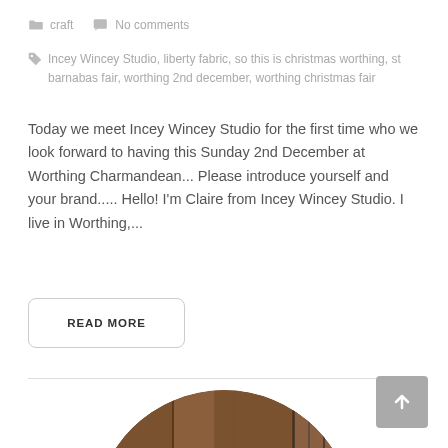craft   No comments
Incey Wincey Studio, liberty fabric, so this is christmas worthing, st barnabas fair, worthing 2nd december, worthing christmas fair
Today we meet Incey Wincey Studio for the first time who we look forward to having this Sunday 2nd December at Worthing Charmandean... Please introduce yourself and your brand..... Hello! I'm Claire from Incey Wincey Studio. I live in Worthing,...
READ MORE
[Figure (photo): Circular cropped photo of a woman with glasses standing in front of wooden paneled doors, with macrame/craft items hanging in the background]